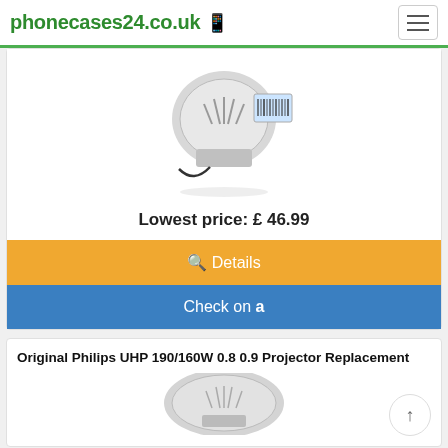phonecases24.co.uk
[Figure (photo): Projector replacement lamp bulb shown with barcode tag]
Lowest price: £ 46.99
🔍 Details
Check on Amazon
Original Philips UHP 190/160W 0.8 0.9 Projector Replacement
[Figure (photo): Second projector replacement lamp partially visible]